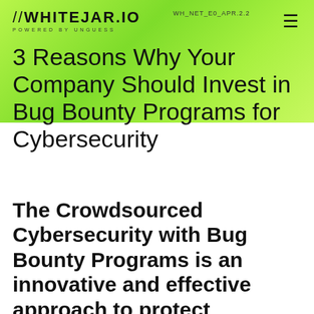//WHITEJAR.IO POWERED BY UNGUESS | WH_NET_E0_APR.2.2
3 Reasons Why Your Company Should Invest in Bug Bounty Programs for Cybersecurity
The Crowdsourced Cybersecurity with Bug Bounty Programs is an innovative and effective approach to protect